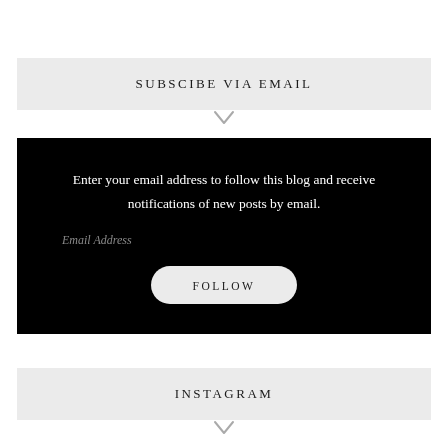SUBSCIBE VIA EMAIL
Enter your email address to follow this blog and receive notifications of new posts by email.
Email Address
FOLLOW
INSTAGRAM